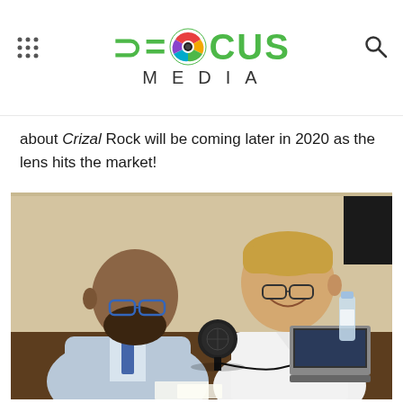DEFOCUS MEDIA
about Crizal Rock will be coming later in 2020 as the lens hits the market!
[Figure (photo): Two men sitting at a table in a hotel conference room. One man (left, bald with beard and glasses, wearing light blue suit) is leaning toward the other. The other man (right, blonde hair, glasses, white shirt) is smiling and pointing at something. A spherical podcast microphone, laptop, and water bottle are on the table.]